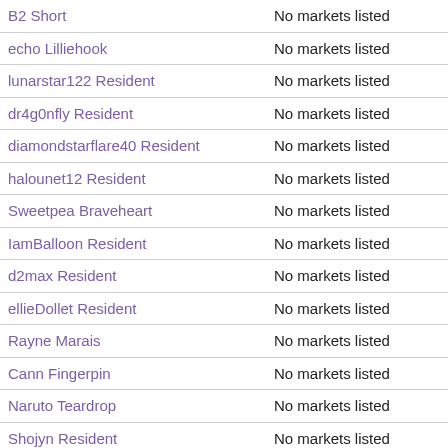| B2 Short | No markets listed |
| echo Lilliehook | No markets listed |
| lunarstar122 Resident | No markets listed |
| dr4g0nfly Resident | No markets listed |
| diamondstarflare40 Resident | No markets listed |
| halounet12 Resident | No markets listed |
| Sweetpea Braveheart | No markets listed |
| IamBalloon Resident | No markets listed |
| d2max Resident | No markets listed |
| ellieDollet Resident | No markets listed |
| Rayne Marais | No markets listed |
| Cann Fingerpin | No markets listed |
| Naruto Teardrop | No markets listed |
| Shojyn Resident | No markets listed |
| JZMoonshadow Resident | Snuffle Headquaters |
| Luther Nestler | No markets listed |
| SexyLover Turbo | No markets listed |
| Miss Chameleon Resident | Dickens Snuffle Market |